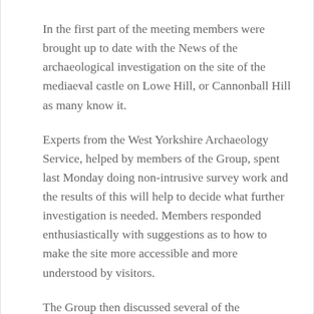In the first part of the meeting members were brought up to date with the News of the archaeological investigation on the site of the mediaeval castle on Lowe Hill, or Cannonball Hill as many know it.
Experts from the West Yorkshire Archaeology Service, helped by members of the Group, spent last Monday doing non-intrusive survey work and the results of this will help to decide what further investigation is needed. Members responded enthusiastically with suggestions as to how to make the site more accessible and more understood by visitors.
The Group then discussed several of the